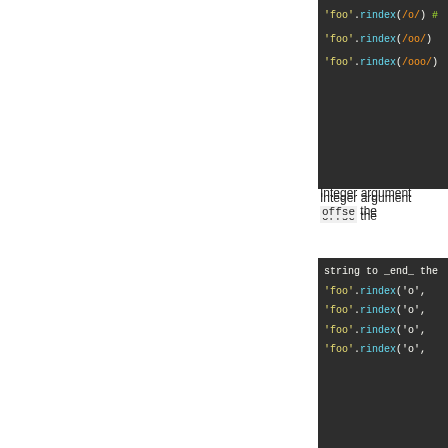[Figure (screenshot): Dark code block showing 'foo'.rindex(/o/) with comment, 'foo'.rindex(/oo/), 'foo'.rindex(/ooo/) lines]
Integer argument offset the
[Figure (screenshot): Dark code block showing string to _end_ the, 'foo'.rindex('o', ...) four lines]
If offset is a negative number, the sum of the string's le
[Figure (screenshot): Dark code block showing 'foo'.rindex('o', -...) four lines]